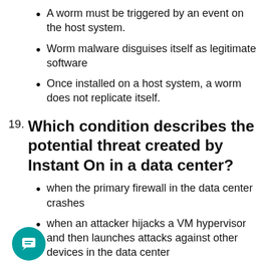A worm must be triggered by an event on the host system.
Worm malware disguises itself as legitimate software
Once installed on a host system, a worm does not replicate itself.
19. Which condition describes the potential threat created by Instant On in a data center?
when the primary firewall in the data center crashes
when an attacker hijacks a VM hypervisor and then launches attacks against other devices in the data center
when the primary IPS appliance is